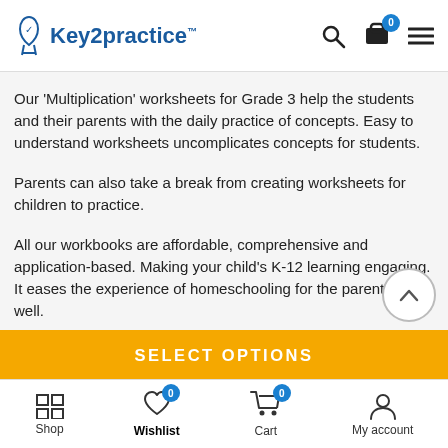Key2practice
Our ‘Multiplication’ worksheets for Grade 3 help the students and their parents with the daily practice of concepts. Easy to understand worksheets uncomplicates concepts for students.
Parents can also take a break from creating worksheets for children to practice.
All our workbooks are affordable, comprehensive and application-based. Making your child’s K-12 learning engaging. It eases the experience of homeschooling for the parents as well.
SELECT OPTIONS
Shop | Wishlist | Cart | My account